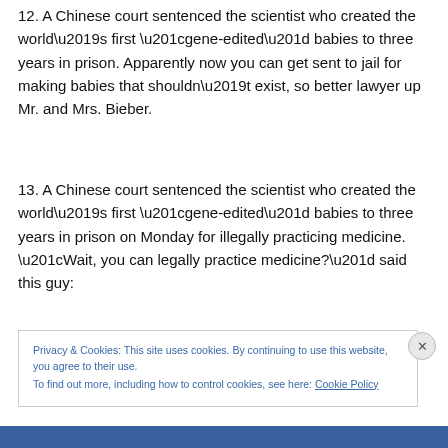12. A Chinese court sentenced the scientist who created the world's first “gene-edited” babies to three years in prison. Apparently now you can get sent to jail for making babies that shouldn’t exist, so better lawyer up Mr. and Mrs. Bieber.
13. A Chinese court sentenced the scientist who created the world’s first “gene-edited” babies to three years in prison on Monday for illegally practicing medicine. “Wait, you can legally practice medicine?” said this guy:
Privacy & Cookies: This site uses cookies. By continuing to use this website, you agree to their use.
To find out more, including how to control cookies, see here: Cookie Policy